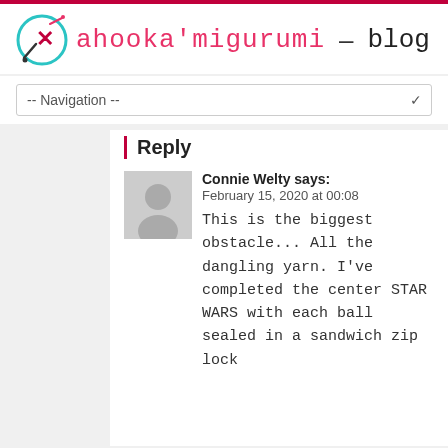ahooka'migurumi – blog
-- Navigation --
Reply
Connie Welty says:
February 15, 2020 at 00:08

This is the biggest obstacle... All the dangling yarn. I've completed the center STAR WARS with each ball sealed in a sandwich zip lock